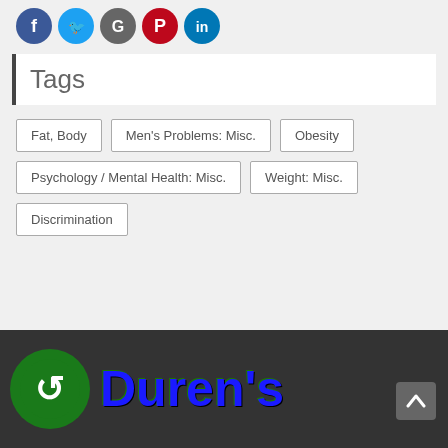[Figure (other): Social media sharing icons: Facebook (blue), Twitter (light blue), Google+ (gray), Pinterest (red), LinkedIn (blue)]
Tags
Fat, Body
Men's Problems: Misc.
Obesity
Psychology / Mental Health: Misc.
Weight: Misc.
Discrimination
[Figure (logo): Duren's website logo: green circle with white arrow icon on dark background, followed by 'Duren's' text in blue with green outline]